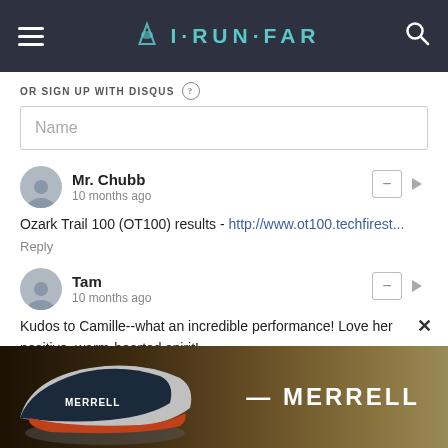I·RUN·FAR
OR SIGN UP WITH DISQUS ?
Name
Mr. Chubb
10 months ago
Ozark Trail 100 (OT100) results - http://www.ot100.techfirest...
Reply
Tam
10 months ago
Kudos to Camille--what an incredible performance! Love her positive, warm-hearted spirit!
[Figure (photo): Merrell shoe advertisement banner showing a trail running shoe with the MERRELL brand name]